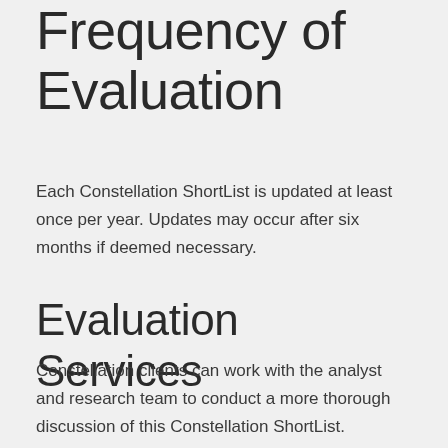Frequency of Evaluation
Each Constellation ShortList is updated at least once per year. Updates may occur after six months if deemed necessary.
Evaluation Services
Constellation clients can work with the analyst and research team to conduct a more thorough discussion of this Constellation ShortList. Constellation can also provide guidance in vendor selection and contract negotiation.